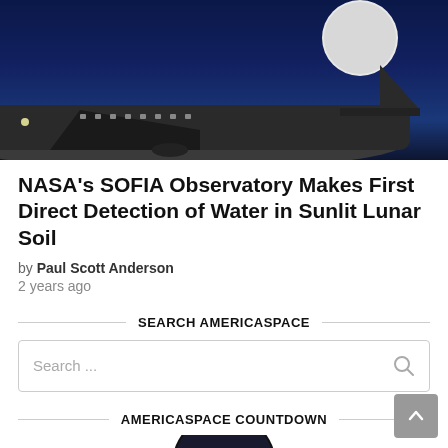[Figure (photo): Dark blue night sky with moon visible and aircraft (SOFIA observatory plane) silhouetted against the sky]
NASA's SOFIA Observatory Makes First Direct Detection of Water in Sunlit Lunar Soil
by Paul Scott Anderson
2 years ago
SEARCH AMERICASPACE
Search ...
AMERICASPACE COUNTDOWN
[Figure (logo): Starlink mission patch logo — circular badge with STARLINK text and blue/yellow design]